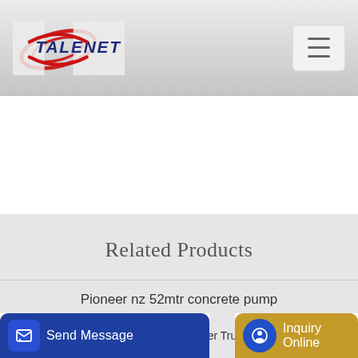TALENET logo and navigation menu
Related Products
Pioneer nz 52mtr concrete pump
batching plant silo drawing diagram
Send Message | er Tru | Inquiry Online